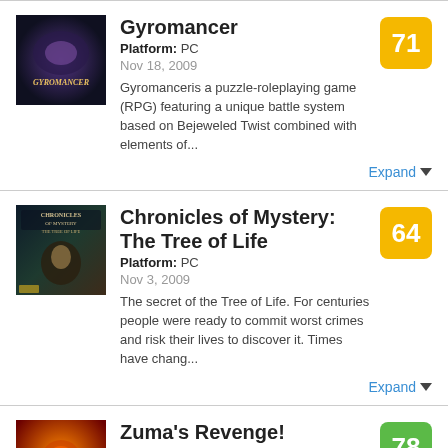[Figure (photo): Gyromancer game cover art]
Gyromancer
Platform: PC
Nov 18, 2009
Gyromanceris a puzzle-roleplaying game (RPG) featuring a unique battle system based on Bejeweled Twist combined with elements of...
Expand
[Figure (photo): Chronicles of Mystery: The Tree of Life game cover art]
Chronicles of Mystery: The Tree of Life
Platform: PC
Nov 3, 2009
The secret of the Tree of Life. For centuries people were ready to commit worst crimes and risk their lives to discover it. Times have chang...
Expand
[Figure (photo): Zuma's Revenge! game cover art]
Zuma's Revenge!
Platform: PC
Sep 15, 2009